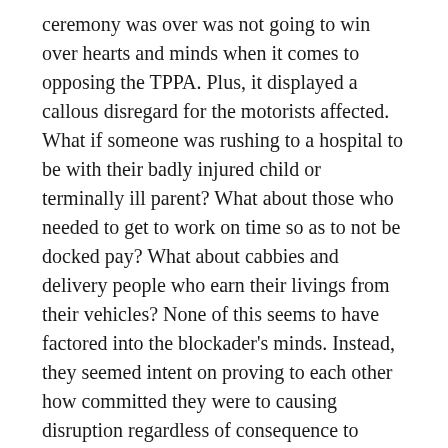ceremony was over was not going to win over hearts and minds when it comes to opposing the TPPA. Plus, it displayed a callous disregard for the motorists affected. What if someone was rushing to a hospital to be with their badly injured child or terminally ill parent? What about those who needed to get to work on time so as to not be docked pay? What about cabbies and delivery people who earn their livings from their vehicles? None of this seems to have factored into the blockader's minds. Instead, they seemed intent on proving to each other how committed they were to causing disruption regardless of consequence to others.
I have seen this before in other places, most recently in Greece, where anarchists and Trotskyites (in particular but not exclusively) infiltrate peaceful protests and engage in acts of violence in order to provoke what are known as "police riots" (a situation where isolated assaults on individual police officers eventually causes them to collectively lash out indiscriminately at protesters). Fortunately, NZ does not have